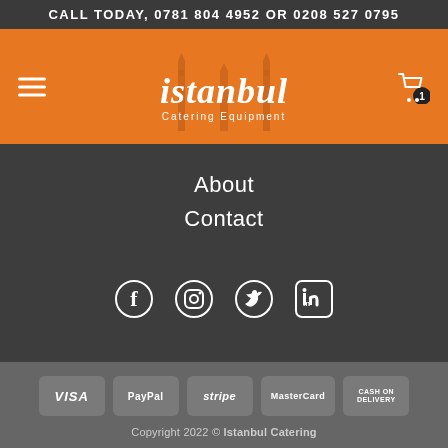CALL TODAY, 0781 804 4952 OR 0208 527 0795
[Figure (logo): Istanbul Catering Equipment logo with orange background, minarets silhouette, and hamburger menu icon on the left and cart icon with badge '1' on the right]
About
Contact
[Figure (infographic): Social media icons row: Facebook, Instagram, Twitter, LinkedIn — white icons on dark grey background]
VISA  PayPal  stripe  MasterCard  CASH ON DELIVERY
Copyright 2022 © Istanbul Catering